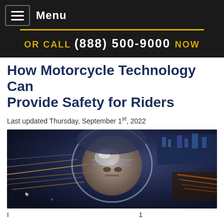Menu
OR CALL (888) 500-9000 NOW
How Motorcycle Technology Can Provide Safety for Riders
Last updated Thursday, September 1st, 2022
[Figure (photo): Motorcycle rider wearing a futuristic transparent helmet visor with city lights and motion blur in the background]